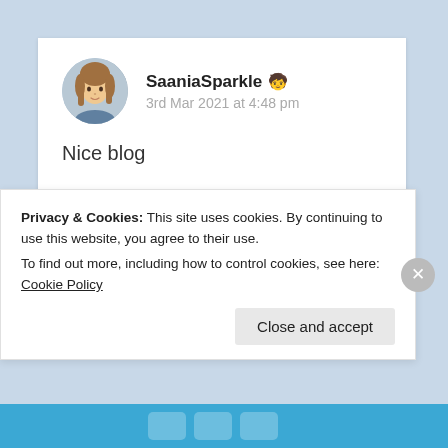[Figure (screenshot): Blog comment section showing user SaaniaSparkle with avatar photo, username in bold, date '3rd Mar 2021 at 4:48 pm', comment text 'Nice blog', liked by 4 people link, Log in to Reply link, and a cookie consent banner at the bottom reading 'Privacy & Cookies: This site uses cookies. By continuing to use this website, you agree to their use. To find out more, including how to control cookies, see here: Cookie Policy' with a 'Close and accept' button.]